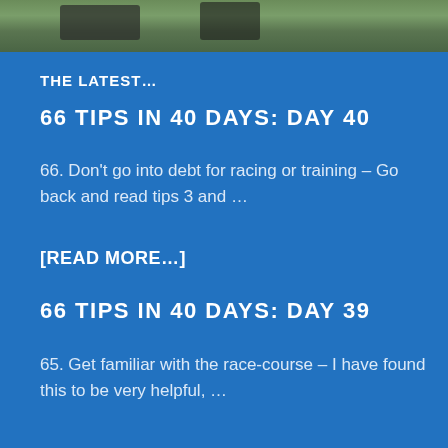[Figure (photo): Outdoor photo strip showing cyclists and greenery at top of page]
THE LATEST…
66 TIPS IN 40 DAYS: DAY 40
66. Don't go into debt for racing or training – Go back and read tips 3 and …
[READ MORE…]
66 TIPS IN 40 DAYS: DAY 39
65. Get familiar with the race-course – I have found this to be very helpful, …